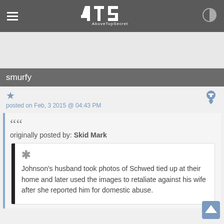ATS AboveTopSecret
[Figure (screenshot): Advertisement area placeholder]
smurfy
posted on Feb, 3 2015 @ 04:43 PM
originally posted by: Skid Mark

Johnson's husband took photos of Schwed tied up at their home and later used the images to retaliate against his wife after she reported him for domestic abuse.